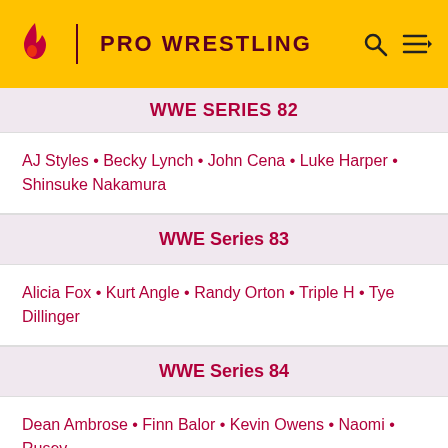PRO WRESTLING
AJ Styles • Becky Lynch • John Cena • Luke Harper • Shinsuke Nakamura
WWE Series 83
Alicia Fox • Kurt Angle • Randy Orton • Triple H • Tye Dillinger
WWE Series 84
Dean Ambrose • Finn Balor • Kevin Owens • Naomi • Rusev
WWE Series 85
AJ Styles • Alexa Bliss • Bobby Roode • John Cena • Seth Rollins
WWE Series SummerSlam 2018